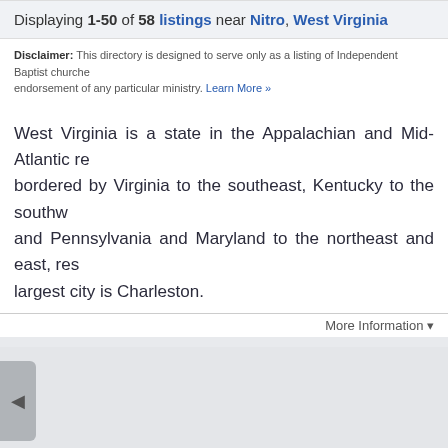Displaying 1-50 of 58 listings near Nitro, West Virginia
Disclaimer: This directory is designed to serve only as a listing of Independent Baptist churches endorsement of any particular ministry. Learn More »
West Virginia is a state in the Appalachian and Mid-Atlantic re bordered by Virginia to the southeast, Kentucky to the southwest and Pennsylvania and Maryland to the northeast and east, res largest city is Charleston.
More Information ▾
[Figure (other): Map navigation area with left arrow button on grey background]
Disclaimer: Photos are provided programmatically by Flickr photo services based on geographic found, please contact support@baptistfriends.org to report this page. Back to Top